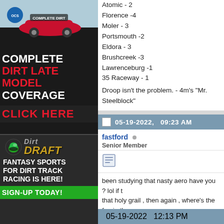[Figure (illustration): Advertisement for Complete Dirt Late Model Coverage - red race car banner ad with text COMPLETE DIRT LATE MODEL COVERAGE CLICK HERE on dark background]
[Figure (illustration): Dirt Draft Fantasy Sports advertisement - helmet logo, gold DRAFT text, FANTASY SPORTS FOR DIRT TRACK RACING IS HERE! SIGN-UP TODAY! on dark background with green bar]
Atomic - 2
Florence -4
Moler - 3
Portsmouth -2
Eldora - 3
Brushcreek -3
Lawrenceburg -1
35 Raceway - 1
Droop isn't the problem. - 4m's "Mr. Steelblock"
05-19-2022,   09:23 AM
fastford
Senior Member
been studying that nasty aero have you ? lol if t that holy grail , then again , where's the fun in th
05-19-2022   12:13 PM